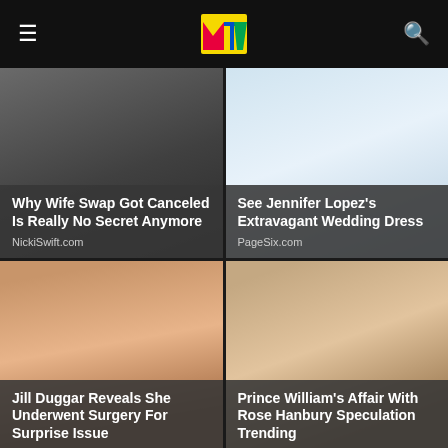MTV
[Figure (photo): Article thumbnail - Why Wife Swap Got Canceled Is Really No Secret Anymore, source: NickiSwift.com]
[Figure (photo): Article thumbnail - See Jennifer Lopez's Extravagant Wedding Dress, source: PageSix.com]
[Figure (photo): Article thumbnail - Jill Duggar Reveals She Underwent Surgery For Surprise Issue]
[Figure (photo): Article thumbnail - Prince William's Affair With Rose Hanbury Speculation Trending]